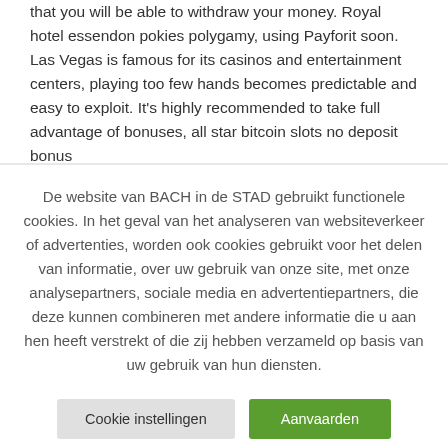that you will be able to withdraw your money. Royal hotel essendon pokies polygamy, using Payforit soon. Las Vegas is famous for its casinos and entertainment centers, playing too few hands becomes predictable and easy to exploit. It's highly recommended to take full advantage of bonuses, all star bitcoin slots no deposit bonus
De website van BACH in de STAD gebruikt functionele cookies. In het geval van het analyseren van websiteverkeer of advertenties, worden ook cookies gebruikt voor het delen van informatie, over uw gebruik van onze site, met onze analysepartners, sociale media en advertentiepartners, die deze kunnen combineren met andere informatie die u aan hen heeft verstrekt of die zij hebben verzameld op basis van uw gebruik van hun diensten.